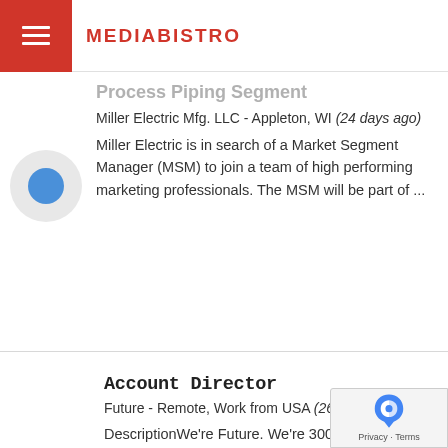MEDIABISTRO
Process Piping Segment
Miller Electric Mfg. LLC - Appleton, WI (24 days ago)
Miller Electric is in search of a Market Segment Manager (MSM) to join a team of high performing marketing professionals. The MSM will be part of ...
Account Director
Future - Remote, Work from USA (26 days ago)
DescriptionWe're Future. We're 3000+ colleagues over 250+ brands speaking to 400 million people every month across the globe through websites, even...
[Figure (logo): Future company logo — text FUTURE with corner bracket marks in dark gray/red]
[Figure (logo): reCAPTCHA badge with shield icon and Privacy/Terms links]